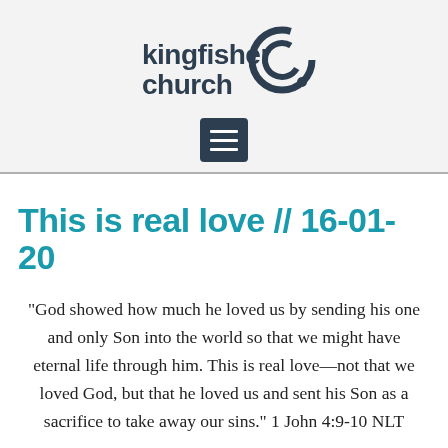[Figure (logo): Kingfisher Church logo with circular swirl icon and text 'kingfisher church']
[Figure (other): Dark square hamburger menu button with three white horizontal lines]
This is real love // 16-01-20
“God showed how much he loved us by sending his one and only Son into the world so that we might have eternal life through him. This is real love—not that we loved God, but that he loved us and sent his Son as a sacrifice to take away our sins.” 1 John 4:9-10 NLT